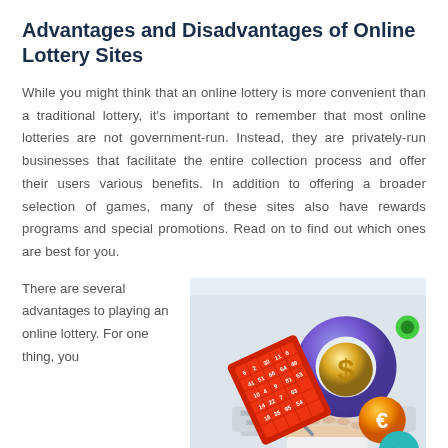Advantages and Disadvantages of Online Lottery Sites
While you might think that an online lottery is more convenient than a traditional lottery, it's important to remember that most online lotteries are not government-run. Instead, they are privately-run businesses that facilitate the entire collection process and offer their users various benefits. In addition to offering a broader selection of games, many of these sites also have rewards programs and special promotions. Read on to find out which ones are best for you.
There are several advantages to playing an online lottery. For one thing, you
[Figure (illustration): Illustration showing a person's hands typing on a laptop keyboard, with floating lottery bingo card (red), a large blue/purple donut-shaped circle with a gold dollar sign in the center, an orange circle with a euro sign, a teal circle with an upward arrow, and a small green circle in the upper right.]